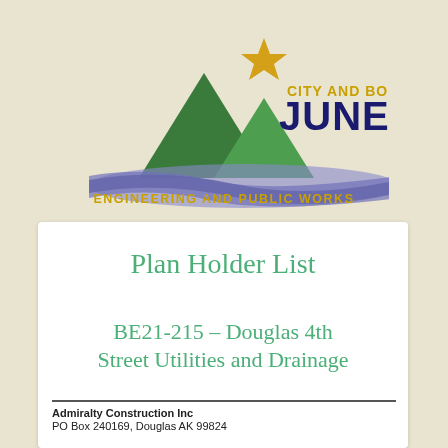[Figure (logo): City and Borough of Juneau logo with green mountain peaks, gold star, blue/purple wave, and text 'CITY AND BOROUGH OF JUNEAU' and 'ENGINEERING AND PUBLIC WORKS']
Plan Holder List
BE21-215 – Douglas 4th Street Utilities and Drainage
Admiralty Construction Inc
PO Box 240169, Douglas AK 99824